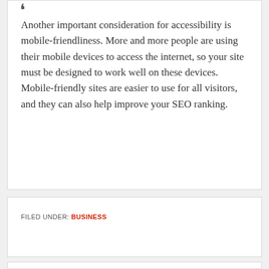Another important consideration for accessibility is mobile-friendliness. More and more people are using their mobile devices to access the internet, so your site must be designed to work well on these devices. Mobile-friendly sites are easier to use for all visitors, and they can also help improve your SEO ranking.
FILED UNDER: BUSINESS